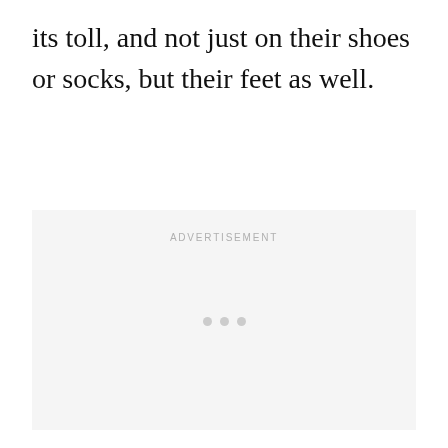its toll, and not just on their shoes or socks, but their feet as well.
[Figure (other): Advertisement placeholder box with light gray background, 'ADVERTISEMENT' label at top center, and three small gray dots centered near bottom]